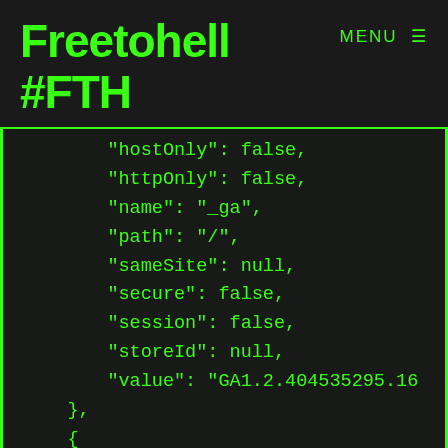Freetohell #FTH
MENU ☰
"hostOnly": false,
"httpOnly": false,
"name": "_ga",
"path": "/",
"sameSite": null,
"secure": false,
"session": false,
"storeId": null,
"value": "GA1.2.404535295.16
},
{